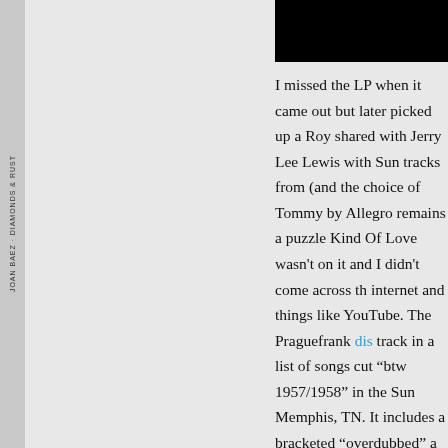[Figure (other): Black rectangle bar at top right of page]
I missed the LP when it came out but later picked up a Roy shared with Jerry Lee Lewis with Sun tracks from (and the choice of Tommy by Allegro remains a puzzle Kind Of Love wasn't on it and I didn't come across th internet and things like YouTube. The Praguefrank dis track in a list of songs cut "btw 1957/1958" in the Sun Memphis, TN. It includes a bracketed "overdubbed" a details are given on backing musicians. It's Too Late ( demo version of Claudette, the song which Roy wrote to sell to the Everly Brothers, are on the same list. The megasource on Sun Records, 706unionavenue, doesn't information.
We tend to think of Roy's hit records as being comple a climax which allowed him to demonstrate the full gl not all he did: the rhythm here was choogling rather th John Fogerty might have had a good crack at this – an minimalist: three lines only with the last repeated to m